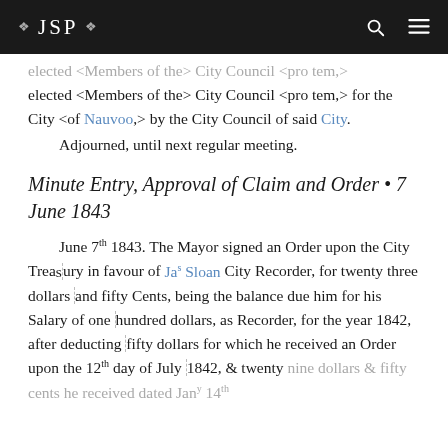❖ JSP ❖
elected <Members of the> City Council <pro tem,> for the City <of Nauvoo,> by the City Council of said City.
Adjourned, until next regular meeting.
Minute Entry, Approval of Claim and Order • 7 June 1843
June 7th 1843. The Mayor signed an Order upon the City Treasury in favour of Jas Sloan City Recorder, for twenty three dollars and fifty Cents, being the balance due him for his Salary of one hundred dollars, as Recorder, for the year 1842, after deducting fifty dollars for which he received an Order upon the 12th day of July 1842, & twenty nine dollars & fifty cents he received dated Jany 14th